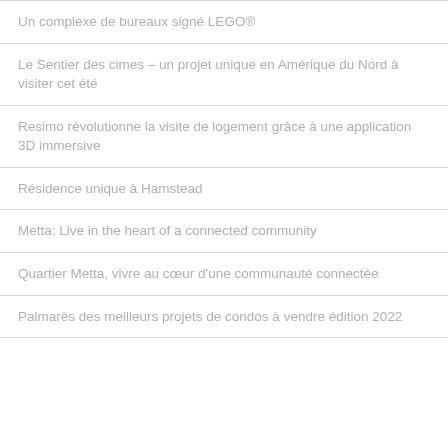Un complexe de bureaux signé LEGO®
Le Sentier des cimes – un projet unique en Amérique du Nord à visiter cet été
Resimo révolutionne la visite de logement grâce à une application 3D immersive
Résidence unique à Hamstead
Metta: Live in the heart of a connected community
Quartier Metta, vivre au cœur d'une communauté connectée
Palmarès des meilleurs projets de condos à vendre édition 2022